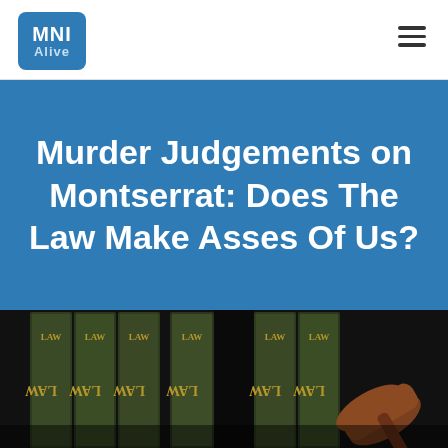MNI Alive
Murder Judgements on Montserrat: Does The Law Make Asses Of Us?
[Figure (photo): Row of dark green law books with gold lettering reading 'LAW' on their spines, with a wooden gavel visible in the foreground on the right side.]